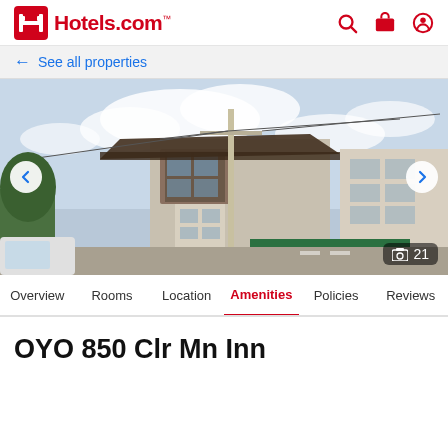Hotels.com
← See all properties
[Figure (photo): Exterior street-level photo of OYO 850 Clr Mn Inn, a multi-story building with a modern rooftop canopy, utility poles with wires, and palm trees in the background. Navigation arrows on sides, photo count badge showing 21.]
Overview
Rooms
Location
Amenities
Policies
Reviews
OYO 850 Clr Mn Inn